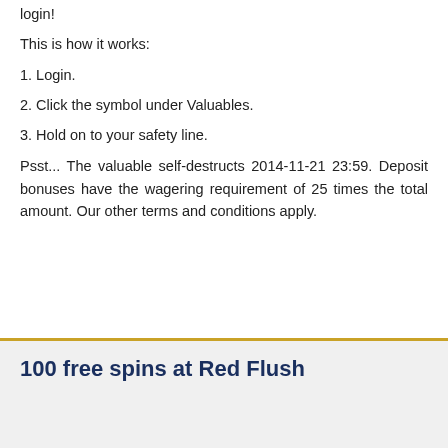login!
This is how it works:
1. Login.
2. Click the symbol under Valuables.
3. Hold on to your safety line.
Psst... The valuable self-destructs 2014-11-21 23:59. Deposit bonuses have the wagering requirement of 25 times the total amount. Our other terms and conditions apply.
100 free spins at Red Flush